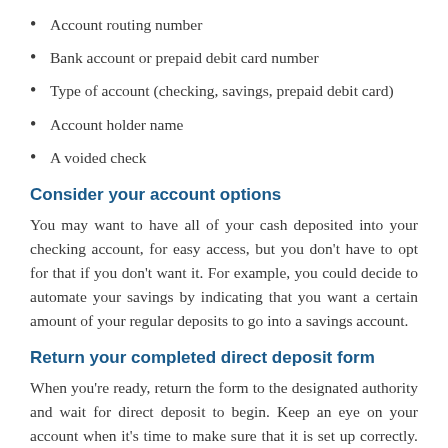Account routing number
Bank account or prepaid debit card number
Type of account (checking, savings, prepaid debit card)
Account holder name
A voided check
Consider your account options
You may want to have all of your cash deposited into your checking account, for easy access, but you don't have to opt for that if you don't want it. For example, you could decide to automate your savings by indicating that you want a certain amount of your regular deposits to go into a savings account.
Return your completed direct deposit form
When you're ready, return the form to the designated authority and wait for direct deposit to begin. Keep an eye on your account when it's time to make sure that it is set up correctly. And, as noted above, keep in mind that it may take more than one pay period to start. After that, be sure to update your